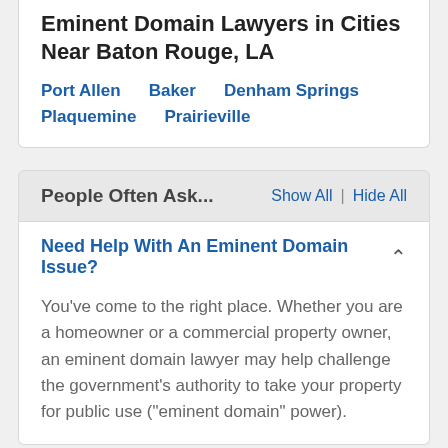Eminent Domain Lawyers in Cities Near Baton Rouge, LA
Port Allen
Baker
Denham Springs
Plaquemine
Prairieville
People Often Ask...
Show All | Hide All
Need Help With An Eminent Domain Issue?
You've come to the right place. Whether you are a homeowner or a commercial property owner, an eminent domain lawyer may help challenge the government's authority to take your property for public use ("eminent domain" power).